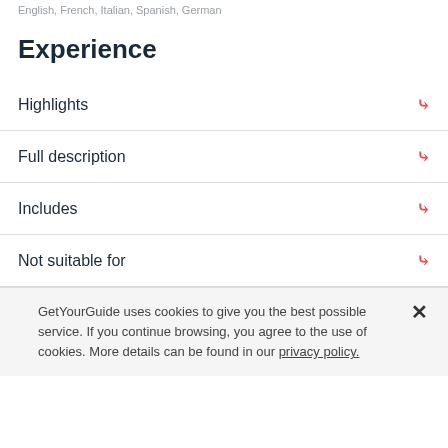English, French, Italian, Spanish, German
Experience
Highlights
Full description
Includes
Not suitable for
GetYourGuide uses cookies to give you the best possible service. If you continue browsing, you agree to the use of cookies. More details can be found in our privacy policy.